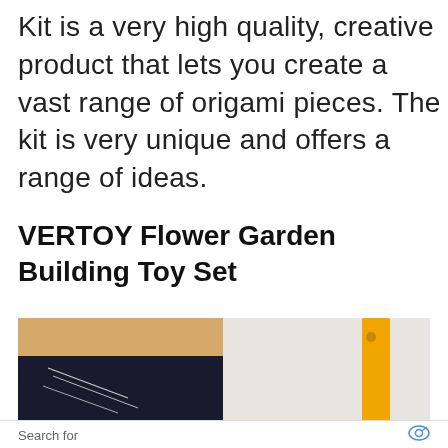Kit is a very high quality, creative product that lets you create a vast range of origami pieces. The kit is very unique and offers a range of ideas.
VERTOY Flower Garden Building Toy Set
[Figure (photo): Two product images side by side: left shows a dark chalkboard-style surface with a light wood frame top edge and white line drawings; right shows a white background with a tall yellow/orange rectangular piece and a purple element at bottom right.]
Search for
SENSORY ACTIVITIES FOR AUTISM →
ACTIVITIES FOR KIDS →
Ad | Business Focus